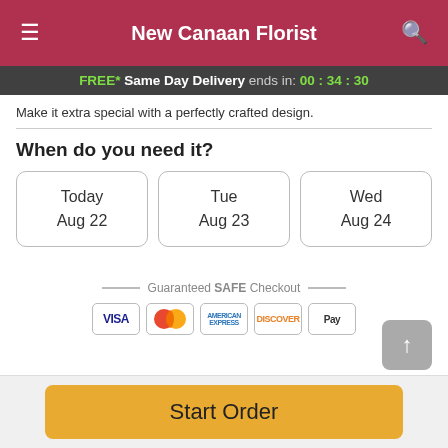New Canaan Florist
FREE* Same Day Delivery ends in: 00 : 34 : 30
Make it extra special with a perfectly crafted design.
When do you need it?
Today
Aug 22
Tue
Aug 23
Wed
Aug 24
Guaranteed SAFE Checkout
[Figure (other): Payment method icons: VISA, Mastercard, American Express, Discover, Apple Pay]
Start Order